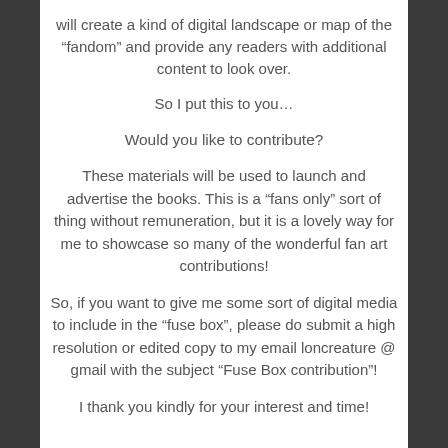will create a kind of digital landscape or map of the “fandom” and provide any readers with additional content to look over.
So I put this to you…
Would you like to contribute?
These materials will be used to launch and advertise the books. This is a “fans only” sort of thing without remuneration, but it is a lovely way for me to showcase so many of the wonderful fan art contributions!
So, if you want to give me some sort of digital media to include in the “fuse box”, please do submit a high resolution or edited copy to my email loncreature @ gmail with the subject “Fuse Box contribution”!
I thank you kindly for your interest and time!